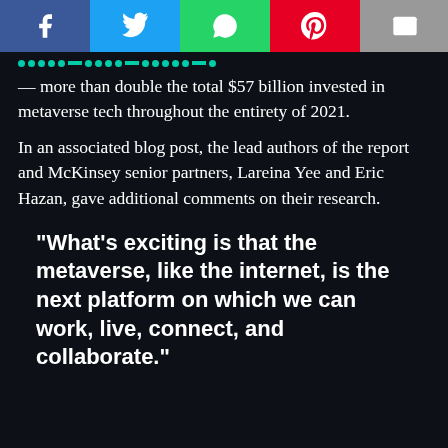[Figure (other): Social media share buttons: Facebook (blue), Twitter (cyan), WhatsApp (green), Pinterest (red), Email (gray)]
— more than double the total $57 billion invested in metaverse tech throughout the entirety of 2021.
In an associated blog post, the lead authors of the report and McKinsey senior partners, Lareina Yee and Eric Hazan, gave additional comments on their research.
“What’s exciting is that the metaverse, like the internet, is the next platform on which we can work, live, connect, and collaborate.”